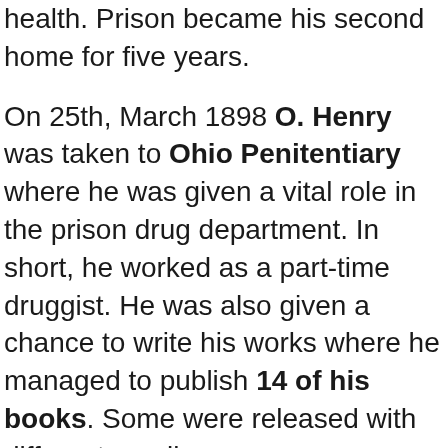health. Prison became his second home for five years.
On 25th, March 1898 O. Henry was taken to Ohio Penitentiary where he was given a vital role in the prison drug department. In short, he worked as a part-time druggist. He was also given a chance to write his works where he managed to publish 14 of his books. Some were released with different monikers.
Eventually, his works spread overseas all thanks to his short collections of stories such as McClure's Magazine, Whistling Dick's Christmas among others. With a subtle soul and envied trait, Henry was released. On 24th, July 1901 he teamed up with his eleven-year daughter in Pennsylvania